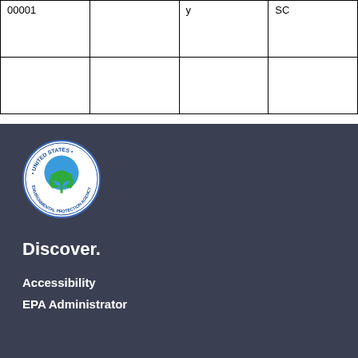| 00001 |  | y | SC |
|  |  |  |  |
[Figure (logo): United States Environmental Protection Agency (EPA) circular seal/logo with blue globe, green leaves, and text around the border]
Discover.
Accessibility
EPA Administrator